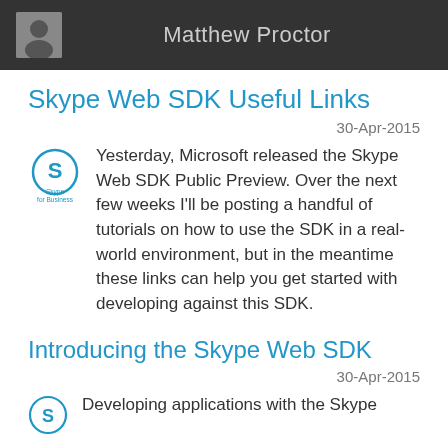Matthew Proctor
Skype Web SDK Useful Links
30-Apr-2015
Yesterday, Microsoft released the Skype Web SDK Public Preview. Over the next few weeks I'll be posting a handful of tutorials on how to use the SDK in a real-world environment, but in the meantime these links can help you get started with developing against this SDK.
Introducing the Skype Web SDK
30-Apr-2015
Developing applications with the Skype